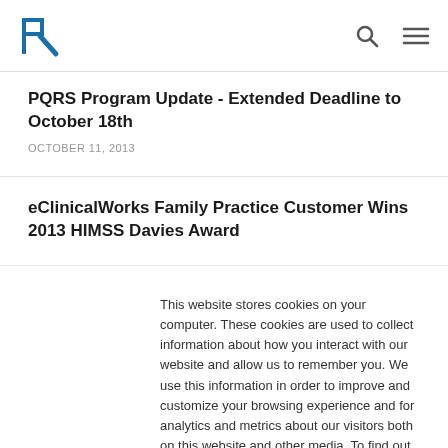R [logo] [search icon] [menu icon]
PQRS Program Update - Extended Deadline to October 18th
OCTOBER 11, 2013
eClinicalWorks Family Practice Customer Wins 2013 HIMSS Davies Award
This website stores cookies on your computer. These cookies are used to collect information about how you interact with our website and allow us to remember you. We use this information in order to improve and customize your browsing experience and for analytics and metrics about our visitors both on this website and other media. To find out more about the cookies we use, please see our Privacy Policy.
Accept